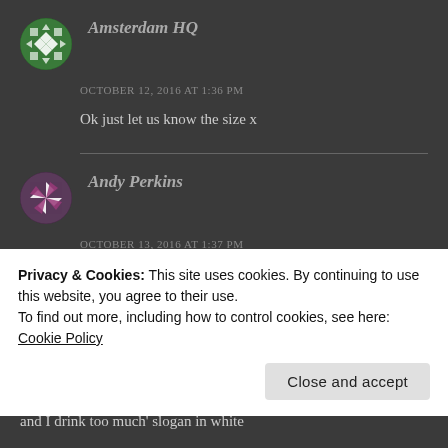[Figure (illustration): Circular avatar with green and white geometric quilt-like pattern for Amsterdam HQ]
Amsterdam HQ
OCTOBER 12, 2016 AT 1:36 PM
Ok just let us know the size x
[Figure (illustration): Circular avatar with purple and white pinwheel/star geometric pattern for Andy Perkins]
Andy Perkins
OCTOBER 13, 2016 AT 1:37 PM
Privacy & Cookies: This site uses cookies. By continuing to use this website, you agree to their use.
To find out more, including how to control cookies, see here: Cookie Policy
Close and accept
and I drink too much' slogan in white